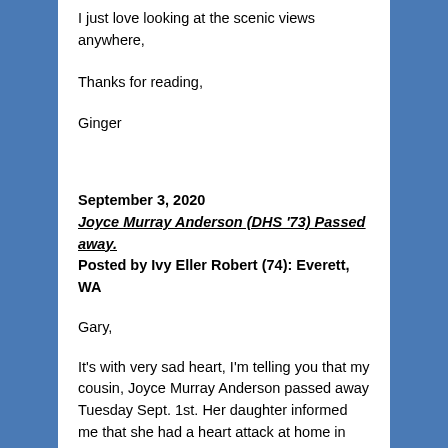I just love looking at the scenic views anywhere,
Thanks for reading,
Ginger
September 3, 2020
Joyce Murray Anderson (DHS '73) Passed away.
Posted by Ivy Eller Robert (74):  Everett, WA
Gary,
It's with very sad heart, I'm telling you that my cousin, Joyce Murray Anderson passed away Tuesday Sept. 1st. Her daughter informed me that she had a heart attack at home in Roy Washington. There was nothing they could do for her by the time the paramedics got there. I guess she had COPD as well.